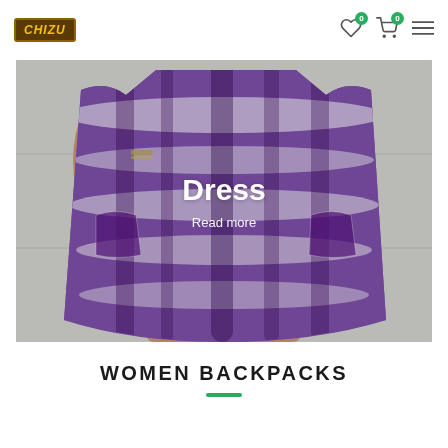CHIZU | Navigation icons with wishlist (0) and cart (0) and menu
[Figure (photo): Woman wearing a purple and white tie-dye dress, holding the sides of the skirt open, standing against a light gray wall. The dress overlay shows text 'Dress' and 'Read more'.]
Dress
Read more
WOMEN BACKPACKS